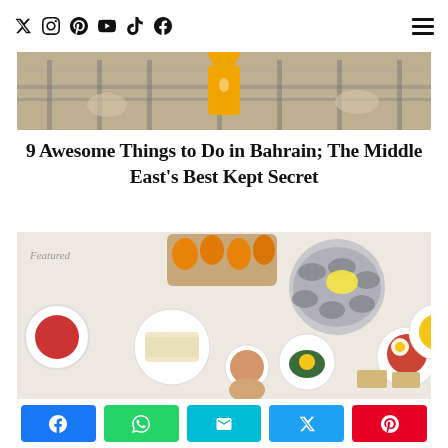Social media icons: Twitter, Instagram, Pinterest, YouTube, TikTok, Facebook; Hamburger menu
[Figure (photo): Person in orange/yellow outfit standing in front of a fence with animals, outdoor farm-like setting]
9 Awesome Things to Do in Bahrain; The Middle East's Best Kept Secret
[Figure (photo): Overhead flat-lay photo of various food dishes including oysters, eggs, toast, coffee, and other breakfast/brunch items on white plates; text 'Featured' overlaid]
Share buttons: Facebook, WhatsApp, Email, Twitter, Pinterest